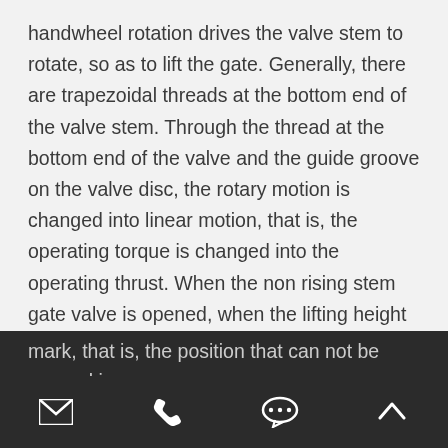handwheel rotation drives the valve stem to rotate, so as to lift the gate. Generally, there are trapezoidal threads at the bottom end of the valve stem. Through the thread at the bottom end of the valve and the guide groove on the valve disc, the rotary motion is changed into linear motion, that is, the operating torque is changed into the operating thrust. When the non rising stem gate valve is opened, when the lifting height of the ram is equal to 1:1 of the valve diameter, the fluid channel is completely unblocked, but in operation, this position cannot be monitored. In actual use, the apex of the valve stem is used as the mark, that is, the position that can not be opened is used as its full open position. In order to consider the